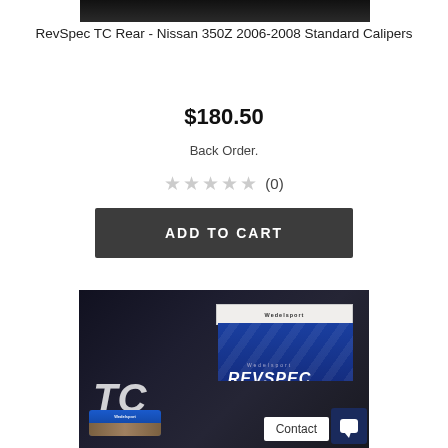[Figure (photo): Top portion of a dark product image, partially cropped at top]
RevSpec TC Rear - Nissan 350Z 2006-2008 Standard Calipers
$180.50
Back Order.
★★★★★ (0)
ADD TO CART
[Figure (photo): Product photo showing RevSpec TC brake pads box and blue brake pad components on dark background, with Contact button and chat icon visible]